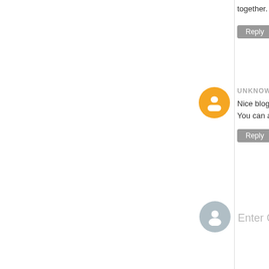together. I see
Reply
UNKNOWN
Nice blog. I rea
You can also v
Reply
Enter Co
←
FACEBOOK LIKE
IGN NEWS
Arcane Has Becom Emmy for Outstandi
The Lord of the Ri